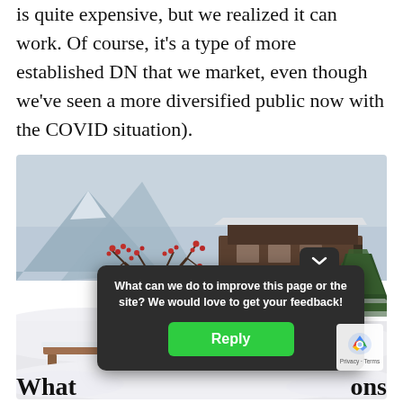is quite expensive, but we realized it can work. Of course, it's a type of more established DN that we market, even though we've seen a more diversified public now with the COVID situation).
[Figure (photo): Winter mountain scene with a snow-covered wooden chalet building, a bare tree with red berries, snowy landscape and mountains in the background.]
What can we do to improve this page or the site? We would love to get your feedback! [Reply button]
What [...]ons